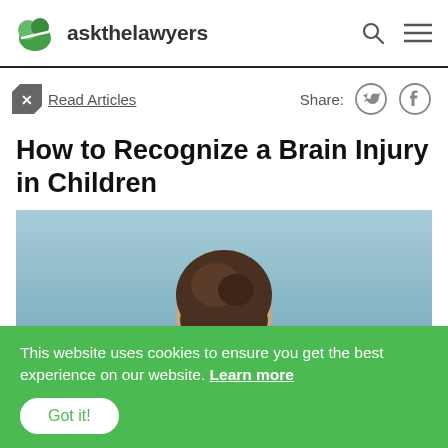askthelawyers
Read Articles  Share:
How to Recognize a Brain Injury in Children
[Figure (photo): Back of a child's head against a blue-grey sky background]
This website uses cookies to ensure you get the best experience on our website. Learn more
Got it!